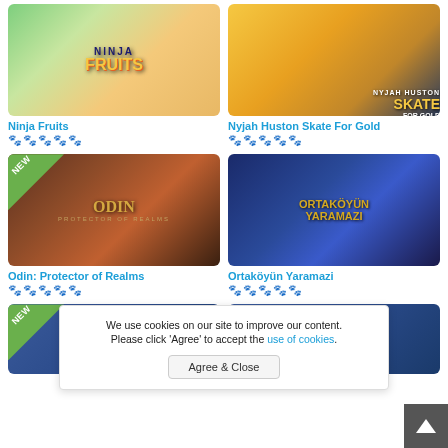[Figure (screenshot): Game thumbnail for Ninja Fruits slot game with colorful text logo]
Ninja Fruits
★★★★☆ (4 out of 5 stars)
[Figure (screenshot): Game thumbnail for Nyjah Huston Skate For Gold slot game]
Nyjah Huston Skate For Gold
★★★★☆ (4 out of 5 stars)
[Figure (screenshot): Game thumbnail for Odin: Protector of Realms slot game with NEW badge]
Odin: Protector of Realms
★★★★★ (5 out of 5 stars)
[Figure (screenshot): Game thumbnail for Ortaköyün Yaramazi slot game]
Ortaköyün Yaramazi
★★★☆☆ (3 out of 5 stars)
[Figure (screenshot): Partially visible game thumbnail with NEW badge (bottom left)]
[Figure (screenshot): Partially visible game thumbnail (bottom right)]
We use cookies on our site to improve our content. Please click 'Agree' to accept the use of cookies.
Agree & Close